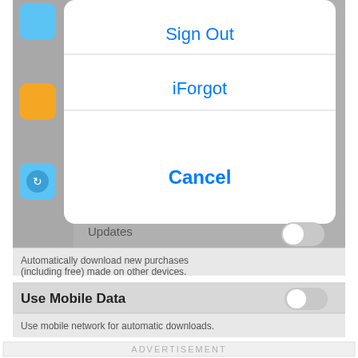[Figure (screenshot): iOS settings screenshot showing a modal action sheet with 'Sign Out', 'iForgot', and 'Cancel' options overlaid on a dimmed settings screen showing 'Updates', automatic download description text, 'Use Mobile Data' toggle (off), and 'Use mobile network for automatic downloads.' text. Below the screenshot is an advertisement placeholder box.]